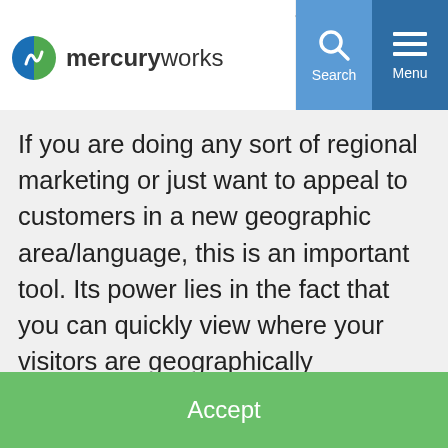[Figure (logo): MercuryWorks logo with circular blue/green icon and text 'mercuryworks']
holds some great information that you get a bit more "local" with yo...
If you are doing any sort of regional marketing or just want to appeal to customers in a new geographic area/language, this is an important tool. Its power lies in the fact that you can quickly view where your visitors are geographically
This site collects anonymous data for the purpose of analytics so that we can monitor and improve its effectiveness. By clicking accept or otherwise using our site, you consent to the use of cookies. Cookie Policy - Privacy Policy
Accept